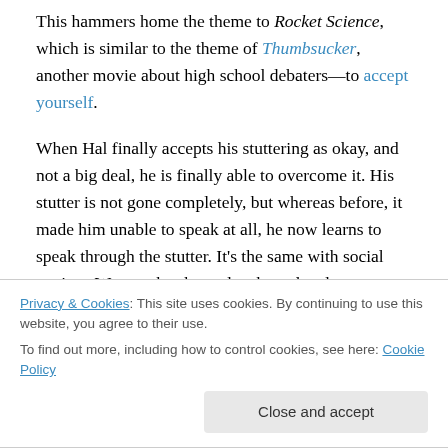This hammers home the theme to Rocket Science, which is similar to the theme of Thumbsucker, another movie about high school debaters—to accept yourself.
When Hal finally accepts his stuttering as okay, and not a big deal, he is finally able to overcome it. His stutter is not gone completely, but whereas before, it made him unable to speak at all, he now learns to speak through the stutter. It's the same with social anxiety. We may be shy and awkward and even stutter a little ourselves, but we need to accept our shyness and anxiety as okay, and not a reason
Privacy & Cookies: This site uses cookies. By continuing to use this website, you agree to their use. To find out more, including how to control cookies, see here: Cookie Policy
Close and accept
think of ourselves in that way. When we identify with the cha...